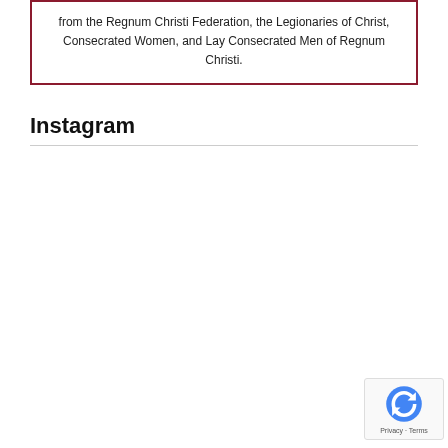from the Regnum Christi Federation, the Legionaries of Christ, Consecrated Women, and Lay Consecrated Men of Regnum Christi.
Instagram
[Figure (other): reCAPTCHA badge with Privacy and Terms links]